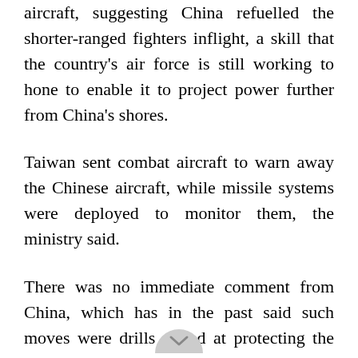aircraft, suggesting China refuelled the shorter-ranged fighters inflight, a skill that the country's air force is still working to hone to enable it to project power further from China's shores.
Taiwan sent combat aircraft to warn away the Chinese aircraft, while missile systems were deployed to monitor them, the ministry said.
There was no immediate comment from China, which has in the past said such moves were drills aimed at protecting the country's sovereignty.